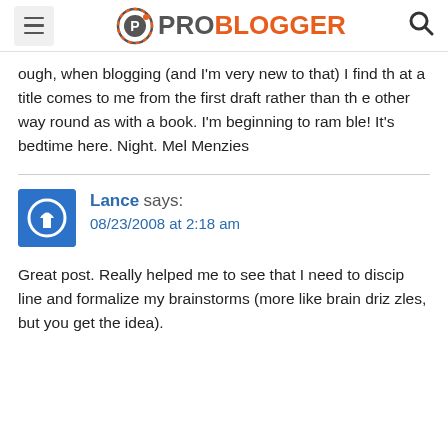ProBlogger
ough, when blogging (and I'm very new to that) I find that a title comes to me from the first draft rather than the other way round as with a book. I'm beginning to ramble! It's bedtime here. Night. Mel Menzies
Lance says: 08/23/2008 at 2:18 am
Great post. Really helped me to see that I need to discipline and formalize my brainstorms (more like brain drizzles, but you get the idea).